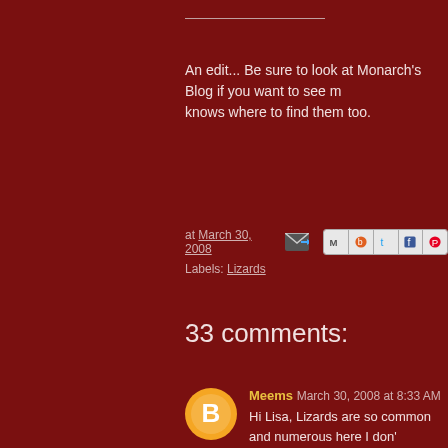An edit... Be sure to look at Monarch's Blog if you want to see m... knows where to find them too.
at March 30, 2008  Labels: Lizards
33 comments:
Meems  March 30, 2008 at 8:33 AM
Hi Lisa, Lizards are so common and numerous here I don't... them.Once again you've opened my eyes to differences i... thankful for the lizards b/c they eat bugs.

They make themselves known to me audibly as they scurry... and around the leaves. This could be alarming if one thinks... first moved here.I learned quickly years ago that a snake ca... the leaves and lizards can.

Your lizards don't eat bugs but they certainly serve you well... garden.